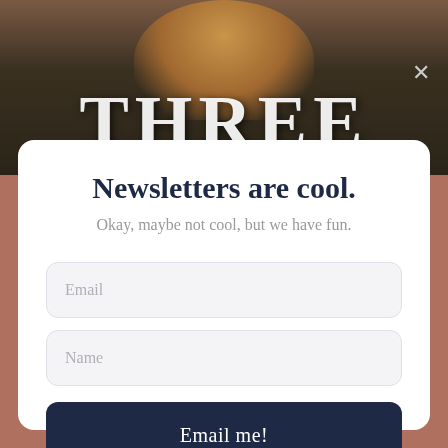[Figure (illustration): Book cover banner showing the title 'THREE' in large white serif letters over a dark moody background with a figure silhouette. An X close button appears in the top right.]
Newsletters are cool.
Okay, maybe not cool, but we have fun.
Email
Name
Email me!